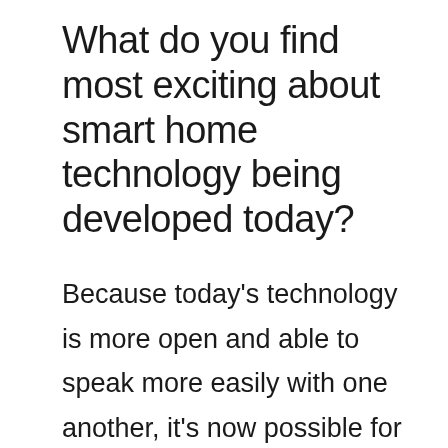What do you find most exciting about smart home technology being developed today?
Because today's technology is more open and able to speak more easily with one another, it's now possible for today's developers to break down the barriers of different protocol languages and build a truly open smart home ecosystem—that's the most exciting part for me! By doing so